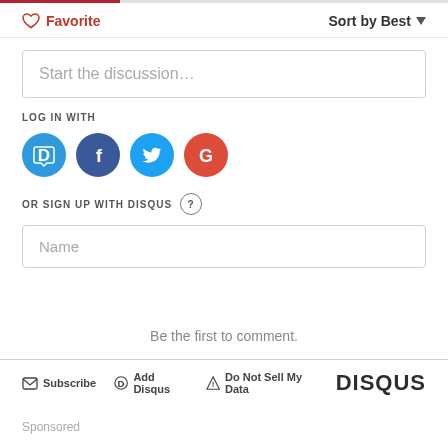[Figure (screenshot): Disqus comment widget interface showing Favorite and Sort by Best controls, a Start the discussion text box, Log In With social icons (Disqus, Facebook, Twitter, Google), Or Sign Up With Disqus section with Name field, Be the first to comment placeholder, and footer with Subscribe, Add Disqus, Do Not Sell My Data, and DISQUS logo]
♡ Favorite
Sort by Best ▼
Start the discussion…
LOG IN WITH
OR SIGN UP WITH DISQUS ?
Name
Be the first to comment.
✉ Subscribe  ⓓ Add Disqus  ▲ Do Not Sell My Data  DISQUS
Sponsored